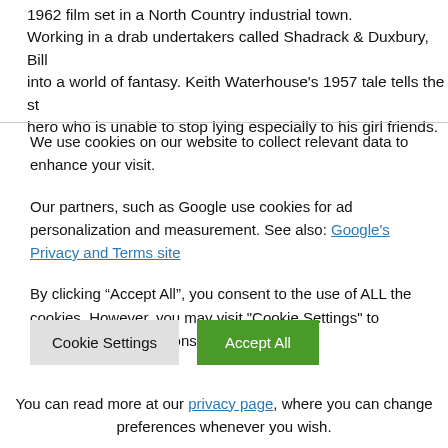1962 film set in a North Country industrial town. Working in a drab undertakers called Shadrack & Duxbury, Bill into a world of fantasy. Keith Waterhouse's 1957 tale tells the story hero who is unable to stop lying especially to his girl friends.
We use cookies on our website to collect relevant data to enhance your visit.
Our partners, such as Google use cookies for ad personalization and measurement. See also: Google's Privacy and Terms site
By clicking “Accept All”, you consent to the use of ALL the cookies. However, you may visit "Cookie Settings" to provide a controlled consent.
You can read more at our privacy page, where you can change preferences whenever you wish.